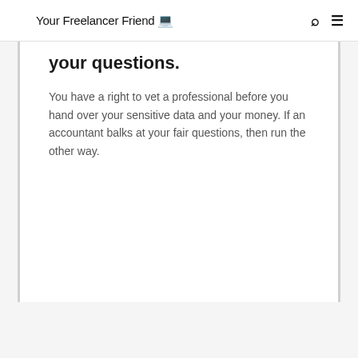Your Freelancer Friend 💻
your questions.
You have a right to vet a professional before you hand over your sensitive data and your money. If an accountant balks at your fair questions, then run the other way.